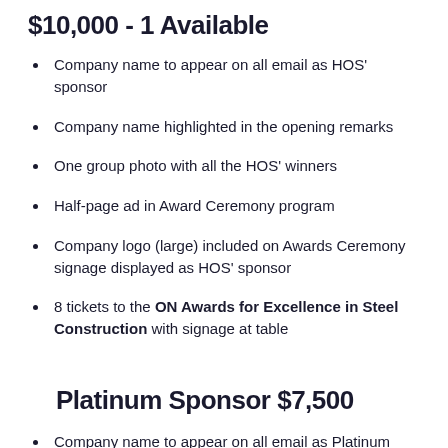$10,000 - 1 Available
Company name to appear on all email as HOS' sponsor
Company name highlighted in the opening remarks
One group photo with all the HOS' winners
Half-page ad in Award Ceremony program
Company logo (large) included on Awards Ceremony signage displayed as HOS' sponsor
8 tickets to the ON Awards for Excellence in Steel Construction with signage at table
Platinum Sponsor $7,500
Company name to appear on all email as Platinum